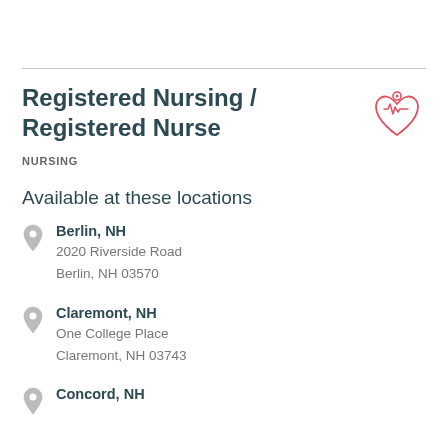Registered Nursing / Registered Nurse
NURSING
Available at these locations
Berlin, NH
2020 Riverside Road
Berlin, NH 03570
Claremont, NH
One College Place
Claremont, NH 03743
Concord, NH